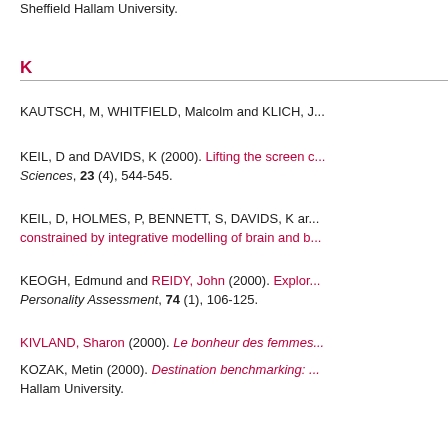Sheffield Hallam University.
K
KAUTSCH, M, WHITFIELD, Malcolm and KLICH, J...
KEIL, D and DAVIDS, K (2000). Lifting the screen c... Sciences, 23 (4), 544-545.
KEIL, D, HOLMES, P, BENNETT, S, DAVIDS, K ar... constrained by integrative modelling of brain and b...
KEOGH, Edmund and REIDY, John (2000). Explor... Personality Assessment, 74 (1), 106-125.
KIVLAND, Sharon (2000). Le bonheur des femmes...
KOZAK, Metin (2000). Destination benchmarking: ... Hallam University.
L
LATHAM, R. and CLEAVER, D. J. (2000). Substrat...
LAYCOCK, Elizabeth and YATES, Tim (2000). Ob...